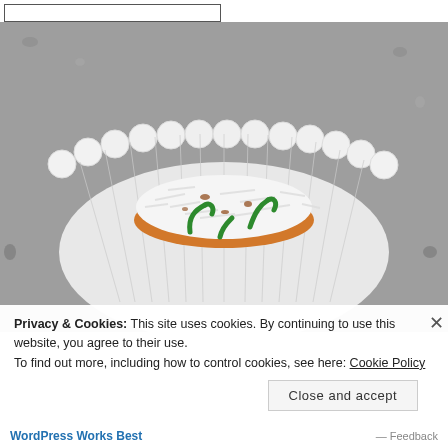[Figure (photo): A cupcake in a white scalloped paper liner, topped with white frosting/coconut shreds and green icing decoration, placed on a gray concrete/gravel surface.]
Privacy & Cookies: This site uses cookies. By continuing to use this website, you agree to their use.
To find out more, including how to control cookies, see here: Cookie Policy
Close and accept
WordPress Works Best